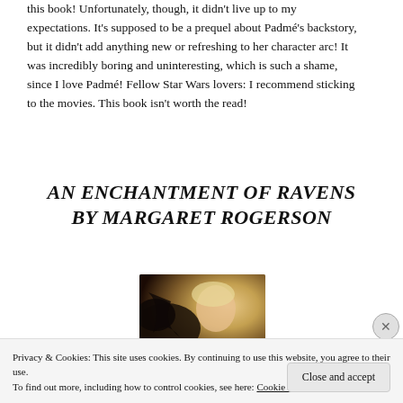this book! Unfortunately, though, it didn't live up to my expectations. It's supposed to be a prequel about Padmé's backstory, but it didn't add anything new or refreshing to her character arc! It was incredibly boring and uninteresting, which is such a shame, since I love Padmé! Fellow Star Wars lovers: I recommend sticking to the movies. This book isn't worth the read!
AN ENCHANTMENT OF RAVENS BY MARGARET ROGERSON
[Figure (illustration): Book cover of An Enchantment of Ravens showing a blonde woman in profile with dark wings or bird imagery in the background]
Privacy & Cookies: This site uses cookies. By continuing to use this website, you agree to their use. To find out more, including how to control cookies, see here: Cookie Policy
Close and accept